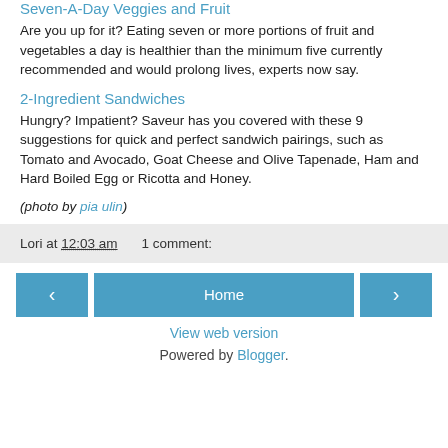Seven-A-Day Veggies and Fruit
Are you up for it? Eating seven or more portions of fruit and vegetables a day is healthier than the minimum five currently recommended and would prolong lives, experts now say.
2-Ingredient Sandwiches
Hungry? Impatient? Saveur has you covered with these 9 suggestions for quick and perfect sandwich pairings, such as Tomato and Avocado, Goat Cheese and Olive Tapenade, Ham and Hard Boiled Egg or Ricotta and Honey.
(photo by pia ulin)
Lori at 12:03 am    1 comment:
Home
View web version
Powered by Blogger.